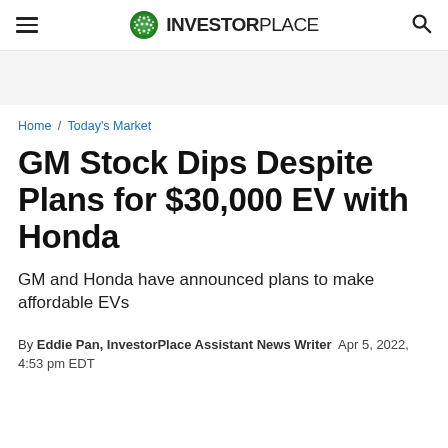InvestorPlace
Home / Today's Market
GM Stock Dips Despite Plans for $30,000 EV with Honda
GM and Honda have announced plans to make affordable EVs
By Eddie Pan, InvestorPlace Assistant News Writer   Apr 5, 2022, 4:53 pm EDT